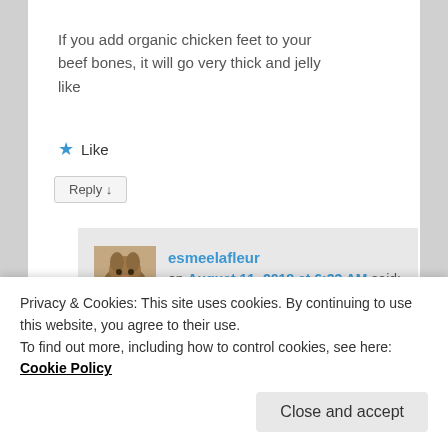If you add organic chicken feet to your beef bones, it will go very thick and jelly like
★ Like
Reply ↓
esmeelafleur on August 11, 2018 at 6:33 AM said:
If you use beef knuckle bones (not
Privacy & Cookies: This site uses cookies. By continuing to use this website, you agree to their use.
To find out more, including how to control cookies, see here: Cookie Policy
Close and accept